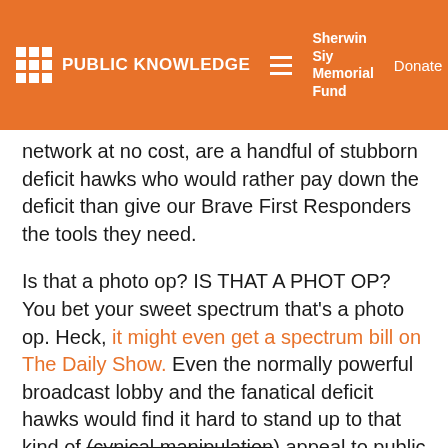PUBLIC KNOWLEDGE | Sherwin Siy Memorial Fund | Donate
network at no cost, are a handful of stubborn deficit hawks who would rather pay down the deficit than give our Brave First Responders the tools they need.
Is that a photo op? IS THAT A PHOT OP? You bet your sweet spectrum that’s a photo op. Heck, it might even get a spectrum bill on The Daily Show. Even the normally powerful broadcast lobby and the fanatical deficit hawks would find it hard to stand up to that kind of (cynical manipulation) appeal to public sentiment